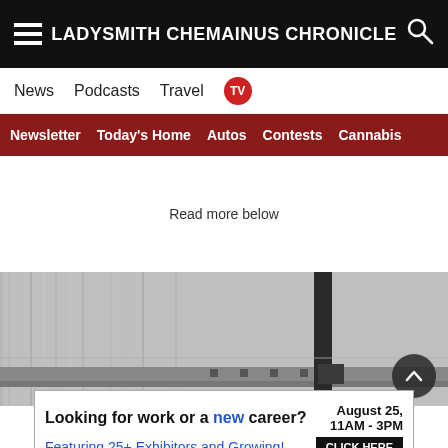LADYSMITH CHEMAINUS CHRONICLE
News   Podcasts   Travel   TV
Newsletter   Today's Home   Autos   Contests   Cannabis
Read more below
[Figure (photo): Industrial machinery interior, close-up of metal structure with vertical pole and hardware components, grayscale tones]
Looking for work or a new career?   August 25, 11AM - 3PM   Featuring 25+ Exhibitors and Growing!   CLICK HERE